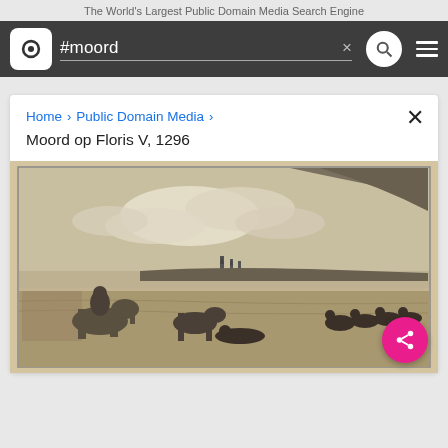The World's Largest Public Domain Media Search Engine
#moord
Home > Public Domain Media >
Moord op Floris V, 1296
[Figure (illustration): Historical engraving depicting a scene with horsemen and figures in a landscape, with a city skyline in the background, clouds, and a body of water. Scene appears to depict the murder of Floris V, 1296.]